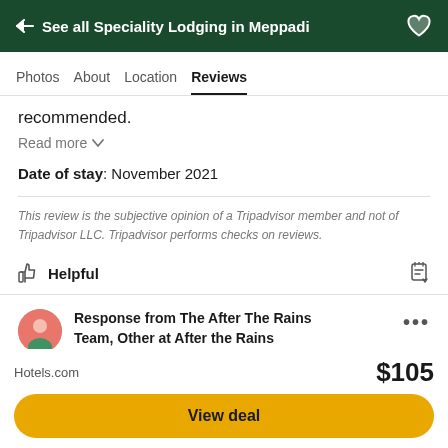← See all Speciality Lodging in Meppadi
Photos  About  Location  Reviews
recommended.
Read more
Date of stay: November 2021
This review is the subjective opinion of a Tripadvisor member and not of Tripadvisor LLC. Tripadvisor performs checks on reviews.
Helpful
Response from The After The Rains Team, Other at After the Rains Rainforest Resort
Responded 8 Jan 2022
Dear Guest, Greetings from After the Rains!
Hotels.com  $105
View deal